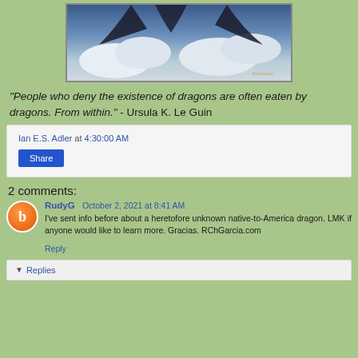[Figure (illustration): Image of a dragon against clouds with RuneScape logo in bottom right corner]
"People who deny the existence of dragons are often eaten by dragons. From within." - Ursula K. Le Guin
Ian E.S. Adler at 4:30:00 AM
Share
2 comments:
RudyG October 2, 2021 at 8:41 AM
I've sent info before about a heretofore unknown native-to-America dragon. LMK if anyone would like to learn more. Gracias. RChGarcia.com
Reply
Replies